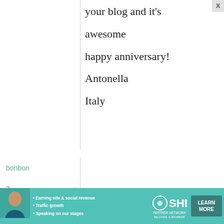your blog and it's awesome happy anniversary! Antonella Italy
bonbon
3 December, 2008 - 17:22
permalink
She's so great
I have a different Nigella Lawson
[Figure (infographic): Advertisement banner for SHE Partner Network with photo of a woman, bullet points about earning site & social revenue, traffic growth, speaking on stages, SHE logo, and a Learn More button]